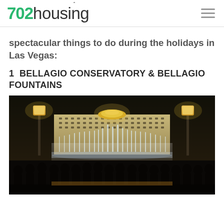702housing
spectacular things to do during the holidays in Las Vegas:
1  BELLAGIO CONSERVATORY & BELLAGIO FOUNTAINS
[Figure (photo): Nighttime photo of the Bellagio hotel and its famous fountains in Las Vegas, with silhouettes of spectators watching the illuminated water show in the foreground.]